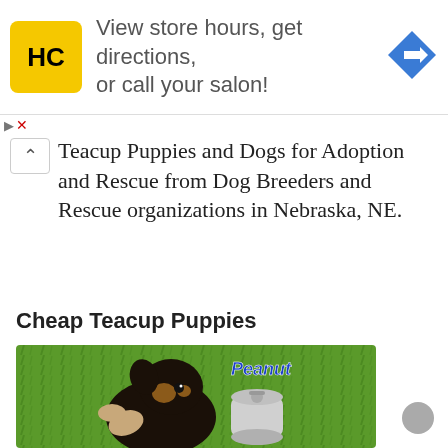[Figure (logo): HC Hair Cuttery yellow square logo with black HC letters]
View store hours, get directions, or call your salon!
[Figure (other): Blue navigation direction arrow diamond icon]
Teacup Puppies and Dogs for Adoption and Rescue from Dog Breeders and Rescue organizations in Nebraska, NE.
Cheap Teacup Puppies
[Figure (photo): Tiny black and tan puppy named Peanut held in a hand next to a soda can on green grass background]